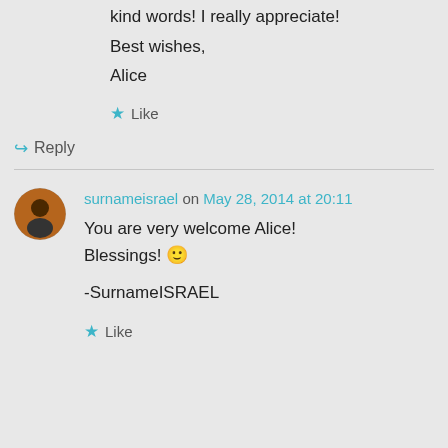kind words! I really appreciate!
Best wishes,
Alice
★ Like
↳ Reply
surnameisrael on May 28, 2014 at 20:11
You are very welcome Alice! Blessings! 🙂

-SurnameISRAEL
★ Like